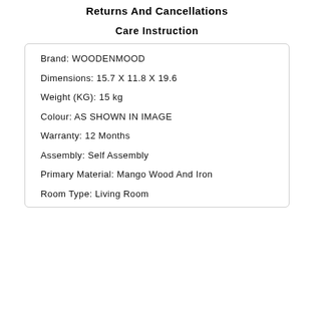Returns And Cancellations
Care Instruction
Brand: WOODENMOOD
Dimensions: 15.7 X 11.8 X 19.6
Weight (KG): 15 kg
Colour: AS SHOWN IN IMAGE
Warranty: 12 Months
Assembly: Self Assembly
Primary Material: Mango Wood And Iron
Room Type: Living Room